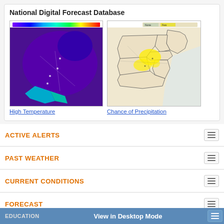National Digital Forecast Database
[Figure (map): Temperature map of northeastern US showing cold temperatures in purple/blue gradient with color scale bar at top]
High Temperature
[Figure (map): Precipitation chance map of northeastern US showing beige/tan base with yellow highlighted areas and legend showing None/Few]
Chance of Precipitation
ACTIVE ALERTS
PAST WEATHER
CURRENT CONDITIONS
FORECAST
INFORMATION CENTER
WEATHER SAFETY
NEWS
EDUCATION
View in Desktop Mode